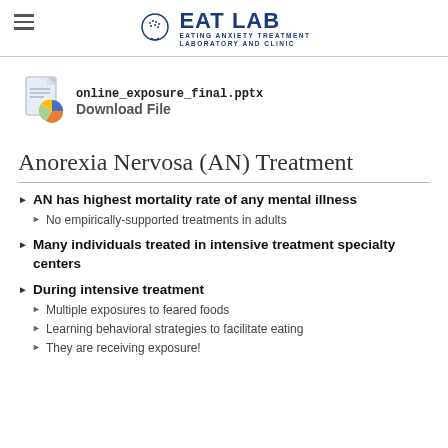EAT LAB — EATING ANXIETY TREATMENT LABORATORY AND CLINIC
[Figure (logo): EAT LAB logo with stylized head icon and text 'EATING ANXIETY TREATMENT LABORATORY AND CLINIC']
online_exposure_final.pptx
Download File
Anorexia Nervosa (AN) Treatment
AN has highest mortality rate of any mental illness
No empirically-supported treatments in adults
Many individuals treated in intensive treatment specialty centers
During intensive treatment
Multiple exposures to feared foods
Learning behavioral strategies to facilitate eating
They are receiving exposure!